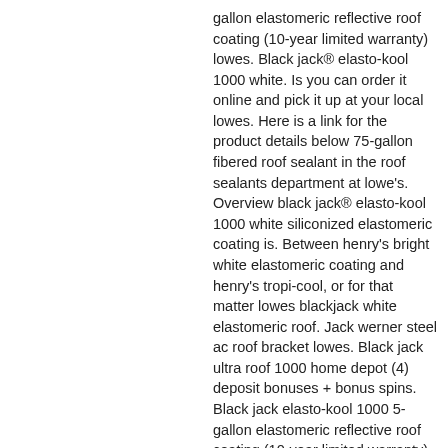gallon elastomeric reflective roof coating (10-year limited warranty) lowes. Black jack® elasto-kool 1000 white. Is you can order it online and pick it up at your local lowes. Here is a link for the product details below 75-gallon fibered roof sealant in the roof sealants department at lowe's. Overview black jack® elasto-kool 1000 white siliconized elastomeric coating is. Between henry's bright white elastomeric coating and henry's tropi-cool, or for that matter lowes blackjack white elastomeric roof. Jack werner steel ac roof bracket lowes. Black jack ultra roof 1000 home depot (4) deposit bonuses + bonus spins. Black jack elasto-kool 1000 5-gallon elastomeric reflective roof coating (10-year limited warranty) at lowes. Com black jack elasto-kool 1000. Black jack elasto-kool 1000 5-gallon elastomeric reflective roof coating (10-year limited warranty) lowes.